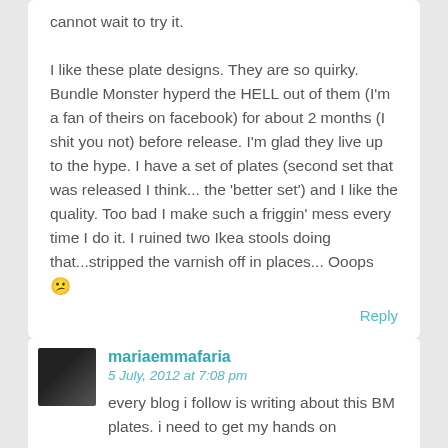cannot wait to try it.

I like these plate designs. They are so quirky. Bundle Monster hyperd the HELL out of them (I'm a fan of theirs on facebook) for about 2 months (I shit you not) before release. I'm glad they live up to the hype. I have a set of plates (second set that was released I think... the 'better set') and I like the quality. Too bad I make such a friggin' mess every time I do it. I ruined two Ikea stools doing that...stripped the varnish off in places... Ooops 😕
Reply
[Figure (photo): Small avatar photo of commenter mariaemmafaria, dark toned image]
mariaemmafaria
5 July, 2012 at 7:08 pm
every blog i follow is writing about this BM plates. i need to get my hands on